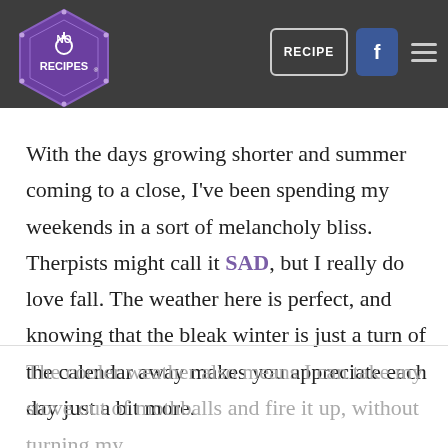[Figure (logo): No Recipes logo: purple hexagon shape with 'NO RECIPES' text and a fork/power icon inside]
RECIPE [Facebook icon] [menu icon]
With the days growing shorter and summer coming to a close, I've been spending my weekends in a sort of melancholy bliss. Therpists might call it SAD, but I really do love fall. The weather here is perfect, and knowing that the bleak winter is just a turn of the calendar away makes you appreciate each day just a bit more.
The cooler weather also means I can take my stove out of mothballs and fire it up, without turning my